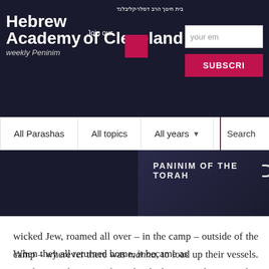[Figure (screenshot): Hebrew Academy of Cleveland website header with logo, email subscription field, subscribe button, navigation bar with All Parashas, All topics, All years dropdowns, search area, and a banner image area]
wicked Jew, roamed all over – in the camp – outside of the camp – wherever there was manna, to load up their vessels. In other words, it was the individual's spiritual posture that created a differential among Jews, which resulted in distinct attitudes concerning how much effort one needed to apply towards attaining his livelihood.
When they all returned home, it became as